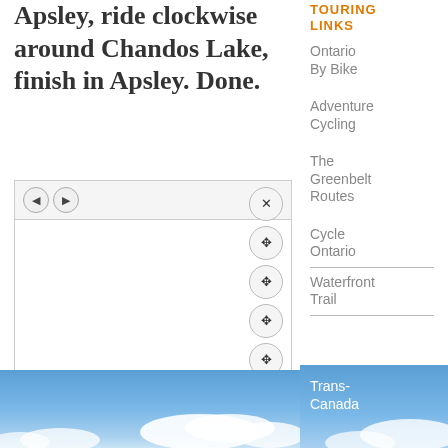Apsley, ride clockwise around Chandos Lake, finish in Apsley. Done.
[Figure (screenshot): Interactive map widget with navigation arrows (back/forward), close button, expand buttons, pan/zoom controls, and a white map area.]
[Figure (photo): Blue sky with white clouds, landscape photo background.]
TOURING LINKS
Ontario By Bike
Adventure Cycling
The Greenbelt Routes
Cycle Ontario
Waterfront Trail
Trans-Canada